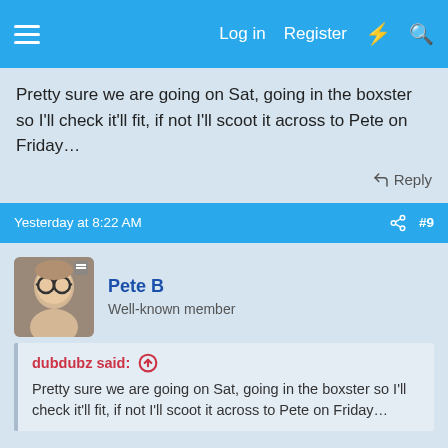Log in  Register
Pretty sure we are going on Sat, going in the boxster so I'll check it'll fit, if not I'll scoot it across to Pete on Friday…
Reply
Yesterday at 8:22 AM  #9
Pete B
Well-known member
dubdubz said:  ↑
Pretty sure we are going on Sat, going in the boxster so I'll check it'll fit, if not I'll scoot it across to Pete on Friday…
Darren, not heard from you so presuming it fits? I should have said earlier, we are aiming to leave about 2:30 this afternoon